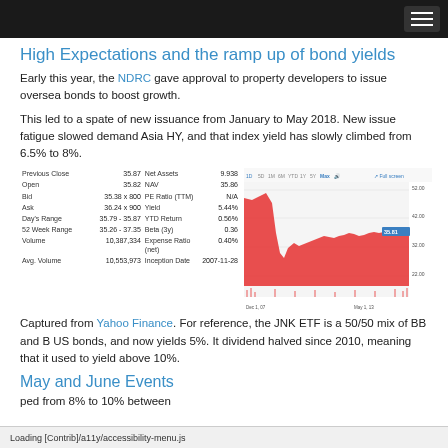High Expectations and the ramp up of bond yields
Early this year, the NDRC gave approval to property developers to issue oversea bonds to boost growth.
This led to a spate of new issuance from January to May 2018. New issue fatigue slowed demand Asia HY, and that index yield has slowly climbed from 6.5% to 8%.
|  |  |  |  |  |
| --- | --- | --- | --- | --- |
| Previous Close | 35.87 | Net Assets | 9.938 |  |
| Open | 35.82 | NAV | 35.86 |  |
| Bid | 35.38 x 800 | PE Ratio (TTM) | N/A |  |
| Ask | 36.24 x 900 | Yield | 5.44% |  |
| Day's Range | 35.79 - 35.87 | YTD Return | 0.56% |  |
| 52 Week Range | 35.26 - 37.35 | Beta (3y) | 0.36 |  |
| Volume | 10,387,334 | Expense Ratio (net) | 0.40% |  |
| Avg. Volume | 10,553,973 | Inception Date | 2007-11-28 |  |
[Figure (area-chart): JNK ETF historical price chart from Yahoo Finance, showing price range from approximately 22 to 52, with a major drop and then relatively stable pattern around 32-36. Time axis shows Dec 1, 07 to May 1, 13. Current value highlighted at 35.81.]
Captured from Yahoo Finance. For reference, the JNK ETF is a 50/50 mix of BB and B US bonds, and now yields 5%. It dividend halved since 2010, meaning that it used to yield above 10%.
May and June Events
ped from 8% to 10% between
Loading [Contrib]/a11y/accessibility-menu.js